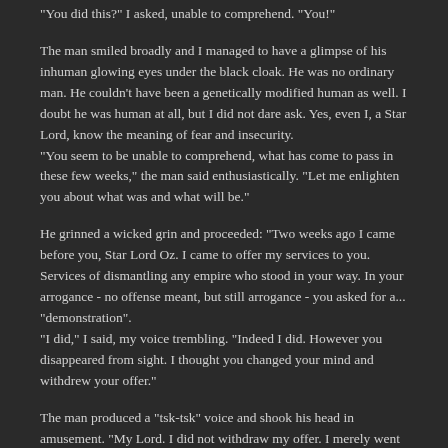"You did this?" I asked, unable to comprehend. "You!"
The man smiled broadly and I managed to have a glimpse of his inhuman glowing eyes under the black cloak. He was no ordinary man. He couldn't have been a genetically modified human as well. I doubt he was human at all, but I did not dare ask. Yes, even I, a Star Lord, know the meaning of fear and insecurity.
"You seem to be unable to comprehend, what has come to pass in these few weeks," the man said enthusiastically. "Let me enlighten you about what was and what will be."
He grinned a wicked grin and proceeded: "Two weeks ago I came before you, Star Lord Oz. I came to offer my services to you. Services of dismantling any empire who stood in your way. In your arrogance - no offense meant, but still arrogance - you asked for a... "demonstration".
"I did," I said, my voice trembling. "Indeed I did. However you disappeared from sight. I thought you changed your mind and withdrew your offer."
The man produced a "tsk-tsk" voice and shook his head in amusement. "My Lord. I did not withdraw my offer. I merely went to deliver the uh... sample of my abilities. As you can see,